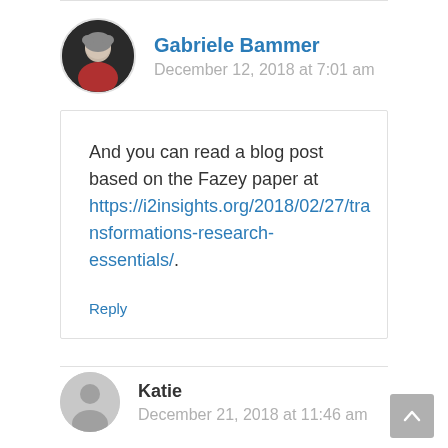Gabriele Bammer
December 12, 2018 at 7:01 am
And you can read a blog post based on the Fazey paper at https://i2insights.org/2018/02/27/transformations-research-essentials/.
Reply
Katie
December 21, 2018 at 11:46 am